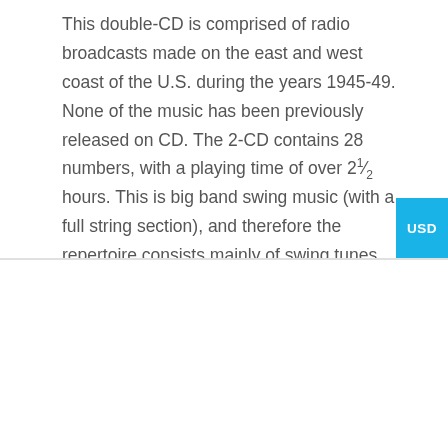This double-CD is comprised of radio broadcasts made on the east and west coast of the U.S. during the years 1945-49. None of the music has been previously released on CD. The 2-CD contains 28 numbers, with a playing time of over 2½ hours. This is big band swing music (with a full string section), and therefore the repertoire consists mainly of swing tunes, along with pop numbers and a few traditional jazz favorites. Harry James was one of the greatest
We use cookies on our website to give you the most relevant experience by remembering your preferences and repeat visits. By clicking "Accept All", you consent to the use of ALL the cookies. However, you may visit "Cookie Settings" to provide a controlled consent.